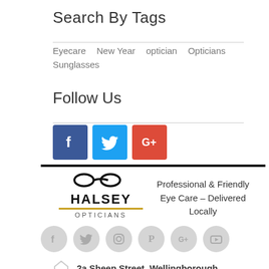Search By Tags
Eyecare   New Year   optician   Opticians   Sunglasses
Follow Us
[Figure (logo): Facebook, Twitter, and Google+ social media colored buttons]
[Figure (logo): Halsey Opticians logo with glasses icon, bold HALSEY text, gold underline, and OPTICIANS text]
Professional & Friendly Eye Care – Delivered Locally
[Figure (logo): Row of six gray circular social media icons: Facebook, Twitter, Instagram, Pinterest, Google+, YouTube]
2a Sheep Street, Wellingborough,